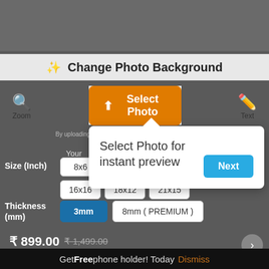[Figure (screenshot): Mobile app screenshot showing 'Change Photo Background' interface with Select Photo button, size and thickness options, and a tooltip popup saying 'Select Photo for instant preview' with a Next button. Bottom bar reads 'Get Free phone holder! Today Dismiss'.]
Change Photo Background
By uploading an image you agree to our Terms of Service.
Size Guide ?
Your
Select Photo for instant preview
Next
| Size (Inch) |
| --- |
| 8x6 |
| 16x16 | 18x12 | 21x15 |
| Thickness (mm) |
| --- |
| 3mm | 8mm ( PREMIUM ) |
₹ 899.00 ₹ 1,499.00
Get Free phone holder! Today Dismiss